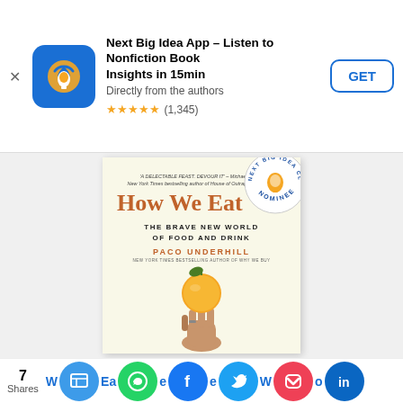[Figure (screenshot): App store ad banner for Next Big Idea App with icon, title, rating and GET button]
Next Big Idea App – Listen to Nonfiction Book Insights in 15min
Directly from the authors
★★★★★ (1,345)
[Figure (photo): Book cover of 'How We Eat: The Brave New World of Food and Drink' by Paco Underhill, showing a hand holding an orange/citrus fruit, with Next Big Idea Club Nominee badge]
[Figure (infographic): Social share bar with 7 Shares and icons for various social platforms including Facebook, Twitter, WhatsApp, Pocket, LinkedIn]